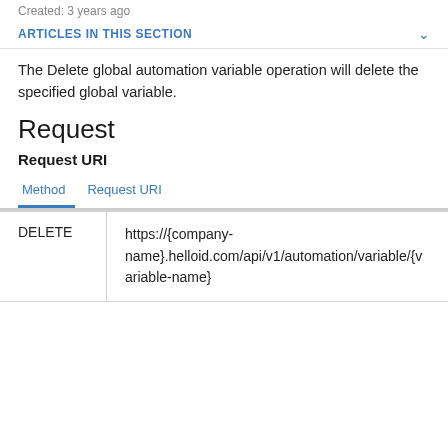Created: 3 years ago
ARTICLES IN THIS SECTION
The Delete global automation variable operation will delete the specified global variable.
Request
Request URI
| Method | Request URI |
| --- | --- |
| DELETE | https://{company-name}.helloid.com/api/v1/automation/variable/{variable-name} |
Method | Request URI tab view